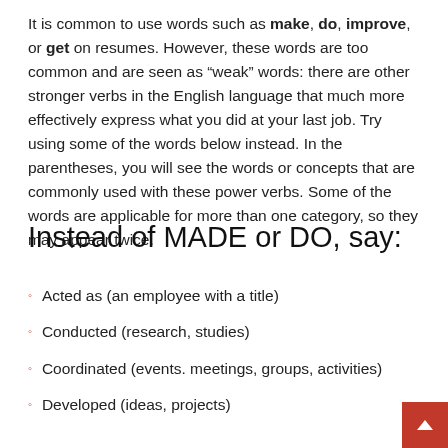It is common to use words such as make, do, improve, or get on resumes. However, these words are too common and are seen as “weak” words: there are other stronger verbs in the English language that much more effectively express what you did at your last job. Try using some of the words below instead. In the parentheses, you will see the words or concepts that are commonly used with these power verbs. Some of the words are applicable for more than one category, so they may appear twice.
Instead of MADE or DO, say:
Acted as (an employee with a title)
Conducted (research, studies)
Coordinated (events. meetings, groups, activities)
Developed (ideas, projects)